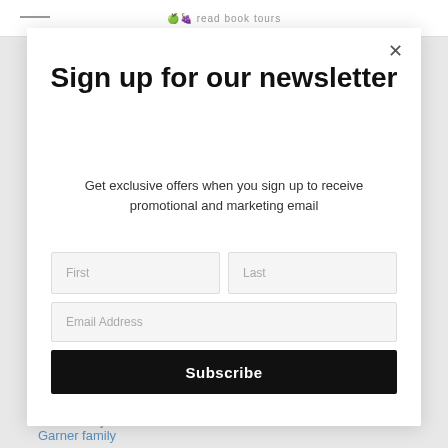read book tours
Sign up for our newsletter
Get exclusive offers when you sign up to receive promotional and marketing email
First
Last
Email Address
Subscribe
Gabriel-valjan
Garner family